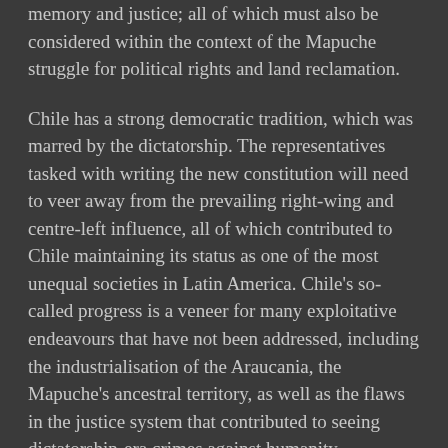memory and justice; all of which must also be considered within the context of the Mapuche struggle for political rights and land reclamation.
Chile has a strong democratic tradition, which was marred by the dictatorship. The representatives tasked with writing the new constitution will need to veer away from the prevailing right-wing and centre-left influence, all of which contributed to Chile maintaining its status as one of the most unequal societies in Latin America. Chile's so-called progress is a veneer for many exploitative endeavours that have not been addressed, including the industrialisation of the Araucania, the Mapuche's ancestral territory, as well as the flaws in the justice system that contributed to seeing dictatorship-era crimes against humanity